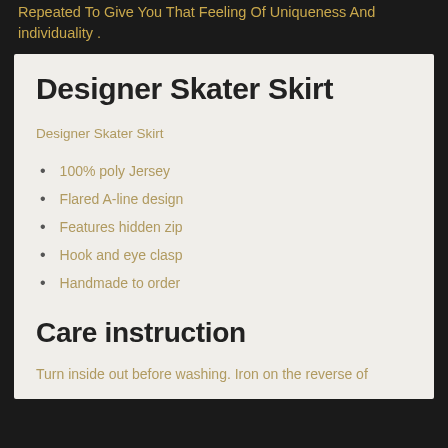Repeated To Give You That Feeling Of Uniqueness And individuality .
Designer Skater Skirt
Designer Skater Skirt
100% poly Jersey
Flared A-line design
Features hidden zip
Hook and eye clasp
Handmade to order
Care instruction
Turn inside out before washing. Iron on the reverse of